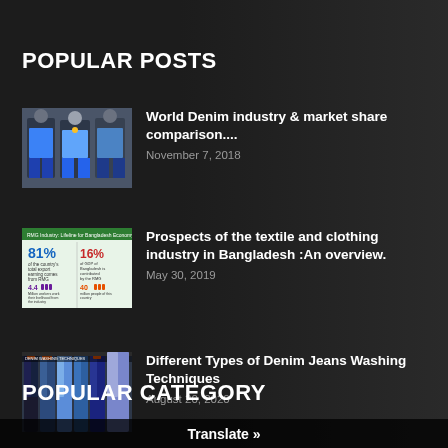POPULAR POSTS
[Figure (photo): Models wearing denim outfits on a runway or street]
World Denim industry & market share comparison....
November 7, 2018
[Figure (infographic): Infographic showing Bangladesh textile industry statistics: 81%, 16%, 4.4, 40]
Prospects of the textile and clothing industry in Bangladesh :An overview.
May 30, 2019
[Figure (photo): Different types of denim jeans hanging on display]
Different Types of Denim Jeans Washing Techniques
August 20, 2020
POPULAR CATEGORY
Translate »